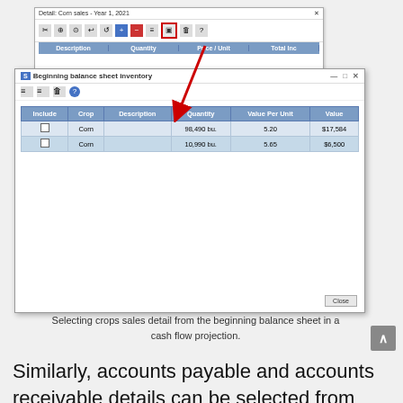[Figure (screenshot): Screenshot showing two overlapping windows: 'Detail: Corn sales - Year 1, 2021' in the background with a toolbar and a table with columns Description, Quantity, Price / Unit, Total Inc, and a highlighted cell. A red arrow points from the highlighted toolbar icon down to a foreground window titled 'Beginning balance sheet inventory' showing a table with columns Include, Crop, Description, Quantity, Value Per Unit, Value, with two rows of Corn data (98,490 bu., 5.20, $17,584 and 10,990 bu., 5.65, $6,500). A Close button appears at bottom right.]
Selecting crops sales detail from the beginning balance sheet in a cash flow projection.
Similarly, accounts payable and accounts receivable details can be selected from the Detailed Balance Sheet for use in a cash flow projection. There is an Accounts